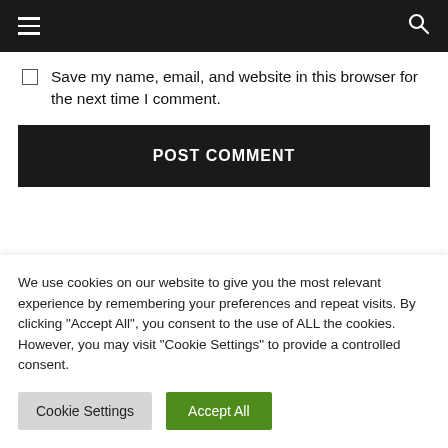☰  🔍
Save my name, email, and website in this browser for the next time I comment.
POST COMMENT
...
We use cookies on our website to give you the most relevant experience by remembering your preferences and repeat visits. By clicking "Accept All", you consent to the use of ALL the cookies. However, you may visit "Cookie Settings" to provide a controlled consent.
Cookie Settings  Accept All